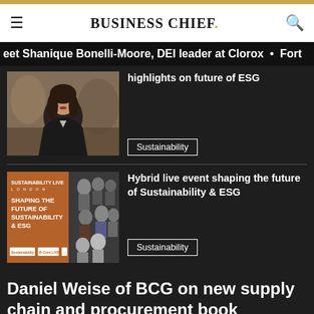BUSINESS CHIEF.
Meet Shanique Bonelli-Moore, DEI leader at Clorox · Fort
[Figure (photo): Portrait photo of a woman in a dark blazer against an artistic background]
highlights on future of ESG
Sustainability
[Figure (photo): Sustainability Live London event banner — Shaping the Future of Sustainability & ESG with group of people]
Hybrid live event shaping the future of Sustainability & ESG
Sustainability
Daniel Weise of BCG on new supply chain and procurement book